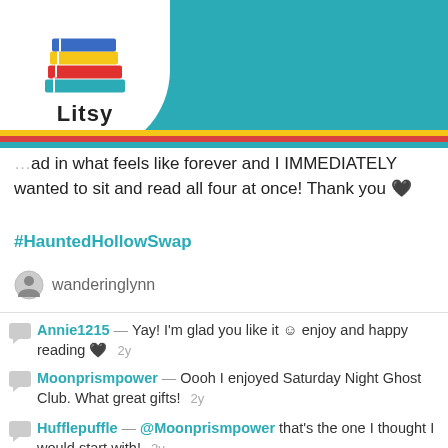[Figure (screenshot): Litsy app navigation bar with logo and icons]
…ad in what feels like forever and I IMMEDIATELY wanted to sit and read all four at once! Thank you 🖤
#HauntedHollowSwap
wanderinglynn
Annie1215 — Yay! I'm glad you like it ☺ enjoy and happy reading 🖤   2y
Moonprismpower — Oooh I enjoyed Saturday Night Ghost Club. What great gifts!   2y
Hufflepuffle — @Moonprismpower that's the one I thought I would start with!   2y
wanderinglynn — Great box! 📚📚📚👻   2y